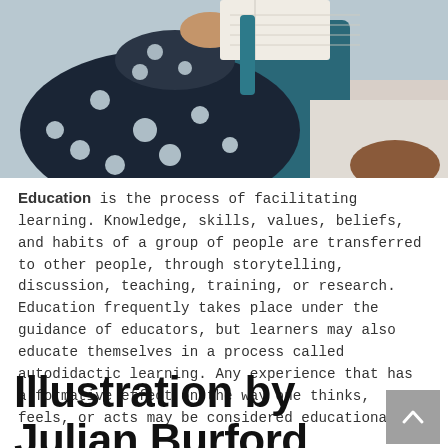[Figure (photo): A person in a dark blue polka-dot outfit reading a book or document, seated on a light-colored sofa. The photo is cropped showing mostly the upper body and arms holding an open book/papers.]
Education is the process of facilitating learning. Knowledge, skills, values, beliefs, and habits of a group of people are transferred to other people, through storytelling, discussion, teaching, training, or research. Education frequently takes place under the guidance of educators, but learners may also educate themselves in a process called autodidactic learning. Any experience that has a formative effect on the way one thinks, feels, or acts may be considered educational.
Illustration by Julian Burford